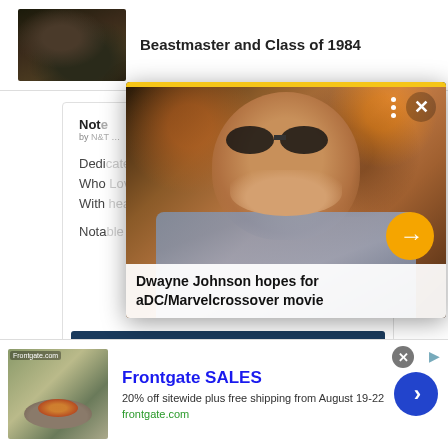[Figure (screenshot): Partial top article with animal/bear image and title text 'Beastmaster and Class of 1984']
Beastmaster and Class of 1984
[Figure (screenshot): Background article card with 'Note' header, partial text including 'Dedi', 'Who', 'With', 'Nota' and a dark blue bar at bottom]
[Figure (photo): Video/news overlay popup showing Dwayne Johnson in sunglasses and blue suit, with headline 'Dwayne Johnson hopes for a DC/Marvel crossover movie', yellow top bar, three-dot menu, X close button, and orange arrow button]
Dwayne Johnson hopes for aDC/Marvelcrossover movie
[Figure (screenshot): Bottom advertisement banner for Frontgate SALES showing outdoor furniture with fire pit image]
Frontgate SALES
20% off sitewide plus free shipping from August 19-22
frontgate.com